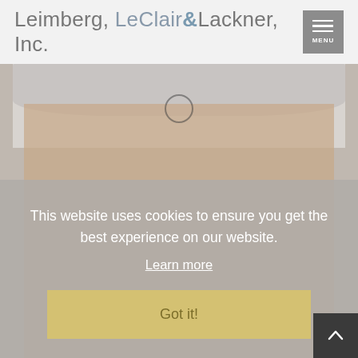Leimberg, LeClair & Lackner, Inc.
[Figure (photo): Close-up photo of an elderly person's face with gray curly hair, overlaid with a cookie consent dialog. The image is partially obscured by a semi-transparent gray overlay containing cookie consent text.]
This website uses cookies to ensure you get the best experience on our website.
Learn more
Got it!